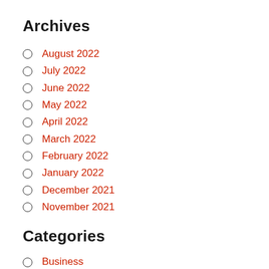Archives
August 2022
July 2022
June 2022
May 2022
April 2022
March 2022
February 2022
January 2022
December 2021
November 2021
Categories
Business